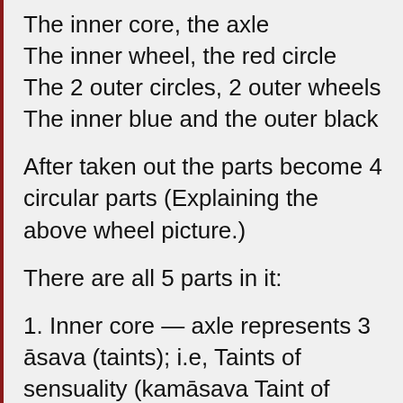The inner core, the axle
The inner wheel, the red circle
The 2 outer circles, 2 outer wheels
The inner blue and the outer black
After taken out the parts become 4 circular parts (Explaining the above wheel picture.)
There are all 5 parts in it:
1. Inner core — axle represents 3 āsava (taints); i.e, Taints of sensuality (kamāsava Taint of becoming - (bhavāsava) and Taint of view (ditthāsava). Combine together